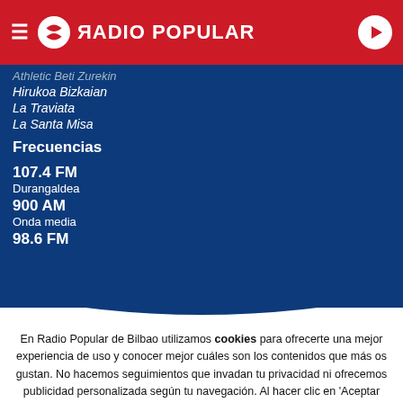RADIO POPULAR
Athletic Beti Zurekin
Hirukoa Bizkaian
La Traviata
La Santa Misa
Frecuencias
107.4 FM
Durangaldea
900 AM
Onda media
98.6 FM
En Radio Popular de Bilbao utilizamos cookies para ofrecerte una mejor experiencia de uso y conocer mejor cuáles son los contenidos que más os gustan. No hacemos seguimientos que invadan tu privacidad ni ofrecemos publicidad personalizada según tu navegación. Al hacer clic en 'Aceptar todo', aceptas el uso de TODAS las cookies.
Rechazar y salir
Aceptar todas y continuar
Leer más